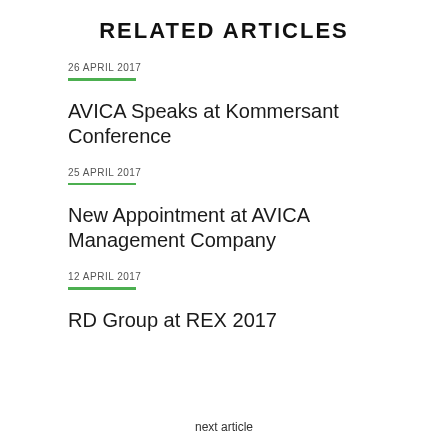RELATED ARTICLES
26 APRIL 2017
AVICA Speaks at Kommersant Conference
25 APRIL 2017
New Appointment at AVICA Management Company
12 APRIL 2017
RD Group at REX 2017
next article